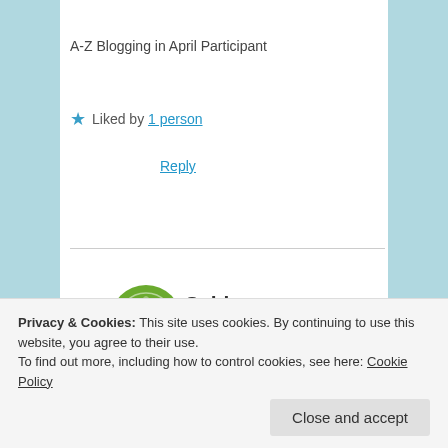A-Z Blogging in April Participant
★ Liked by 1 person
Reply
Sabina  April 2, 2015 at 12:47 am
Thank you so much!! And the art of the college essay is hard to master–how can one piece really say everything about a person? (Answer: it can't, try as we might)
Privacy & Cookies: This site uses cookies. By continuing to use this website, you agree to their use.
To find out more, including how to control cookies, see here: Cookie Policy
Close and accept